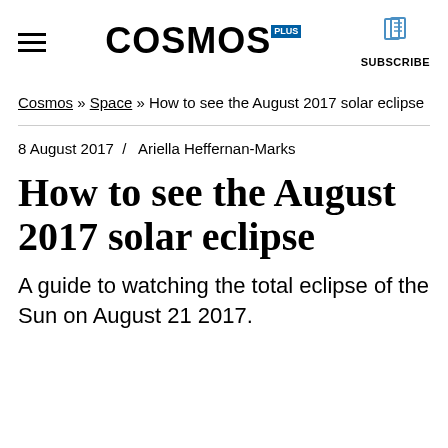COSMOS — SUBSCRIBE
Cosmos » Space » How to see the August 2017 solar eclipse
8 August 2017  /  Ariella Heffernan-Marks
How to see the August 2017 solar eclipse
A guide to watching the total eclipse of the Sun on August 21 2017.